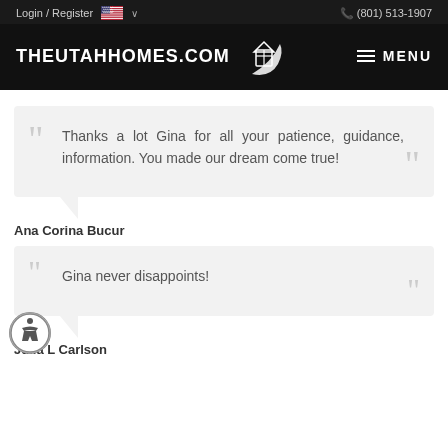Login / Register  (801) 513-1907
[Figure (logo): THEUTAHHOMES.COM logo with house icon on black background and MENU button]
Thanks a lot Gina for all your patience, guidance, information. You made our dream come true!
Ana Corina Bucur
Gina never disappoints!
Julia L Carlson